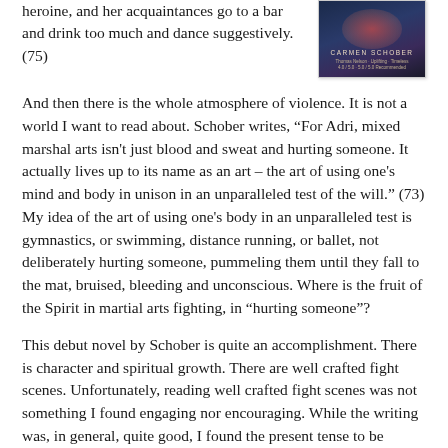heroine, and her acquaintances go to a bar and drink too much and dance suggestively. (75)
[Figure (illustration): Book cover of a novel by Carmen Schober, dark blue and purple tones with a glowing reddish figure, author name visible at bottom]
And then there is the whole atmosphere of violence. It is not a world I want to read about. Schober writes, “For Adri, mixed marshal arts isn't just blood and sweat and hurting someone. It actually lives up to its name as an art – the art of using one's mind and body in unison in an unparalleled test of the will.” (73) My idea of the art of using one's body in an unparalleled test is gymnastics, or swimming, distance running, or ballet, not deliberately hurting someone, pummeling them until they fall to the mat, bruised, bleeding and unconscious. Where is the fruit of the Spirit in martial arts fighting, in “hurting someone”?
This debut novel by Schober is quite an accomplishment. There is character and spiritual growth. There are well crafted fight scenes. Unfortunately, reading well crafted fight scenes was not something I found engaging nor encouraging. While the writing was, in general, quite good, I found the present tense to be distracting.
This is a novel for readers who appreciate the violence associated with mixed martial arts. It may belong to a world I…